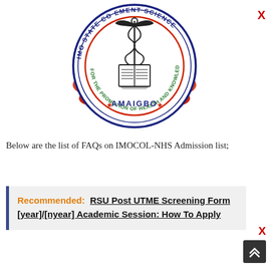[Figure (logo): Circular seal/logo of IMO STATE College of Management Science, Amaigbo. Features a caduceus (medical staff with serpents) above an open book at center. Text around the outer ring reads 'IMO STATE COLLEGE OF MANAGEMENT SCIENCE' in dark blue. Inner ring text reads 'FOR THE PROMOTION OF HEALTH AND KNOWLEDGE' in green. 'AMAIGBO' in blue at bottom center between two red stars. Decorative red ribbon/scroll behind the circle.]
Below are the list of FAQs on IMOCOL-NHS Admission list;
Recommended:  RSU Post UTME Screening Form [year]/[nyear] Academic Session: How To Apply